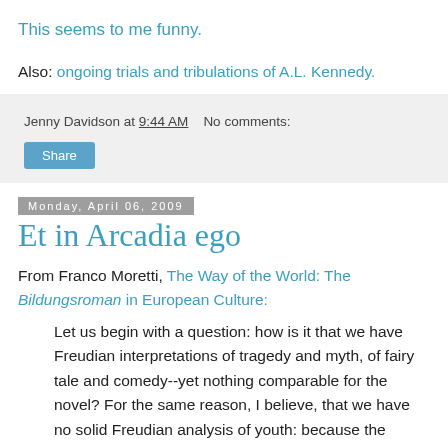This seems to me funny.
Also: ongoing trials and tribulations of A.L. Kennedy.
Jenny Davidson at 9:44 AM   No comments:
Share
Monday, April 06, 2009
Et in Arcadia ego
From Franco Moretti, The Way of the World: The Bildungsroman in European Culture:
Let us begin with a question: how is it that we have Freudian interpretations of tragedy and myth, of fairy tale and comedy--yet nothing comparable for the novel? For the same reason, I believe, that we have no solid Freudian analysis of youth: because the raison d'être of psychoanalysis lies in breaking up the psyche